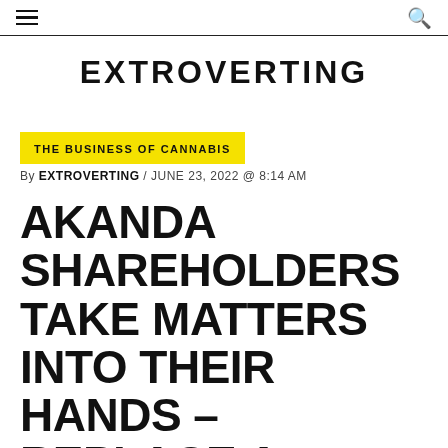EXTROVERTING
THE BUSINESS OF CANNABIS
By EXTROVERTING / JUNE 23, 2022 @ 8:14 AM
AKANDA SHAREHOLDERS TAKE MATTERS INTO THEIR HANDS – REPLACE A MAJORITY OF